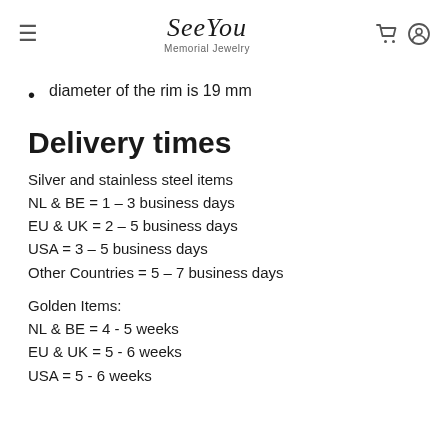SeeYou Memorial Jewelry
diameter of the rim is 19 mm
Delivery times
Silver and stainless steel items
NL & BE = 1 – 3 business days
EU & UK = 2 – 5 business days
USA = 3 – 5 business days
Other Countries = 5 – 7 business days
Golden Items:
NL & BE = 4 - 5 weeks
EU & UK = 5 - 6 weeks
USA = 5 - 6 weeks